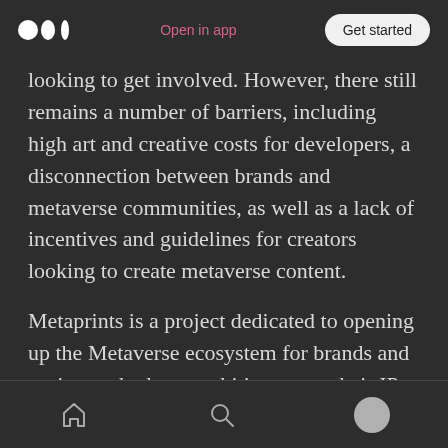Medium logo | Open in app | Get started
looking to get involved. However, there still remains a number of barriers, including high art and creative costs for developers, a disconnection between brands and metaverse communities, as well as a lack of incentives and guidelines for creators looking to create metaverse content.
Metaprints is a project dedicated to opening up the Metaverse ecosystem for brands and projects who have ambition to see their IP in multiple metaverses. Rather than focusing efforts on a
Home | Search | Profile